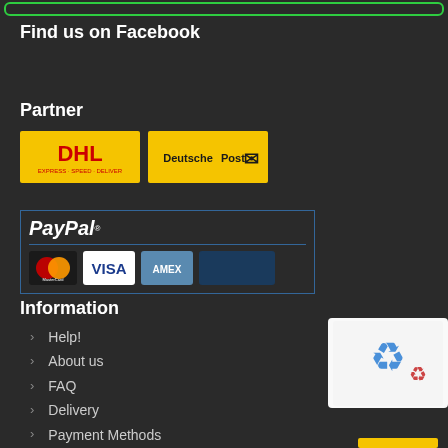Find us on Facebook
Partner
[Figure (logo): DHL logo on yellow background]
[Figure (logo): Deutsche Post logo on yellow background]
[Figure (logo): PayPal payment widget with MasterCard, VISA, AMEX card logos]
Information
Help!
About us
FAQ
Delivery
Payment Methods
Privacy Policy
Return Policy
Distributor
[Figure (other): reCAPTCHA widget]